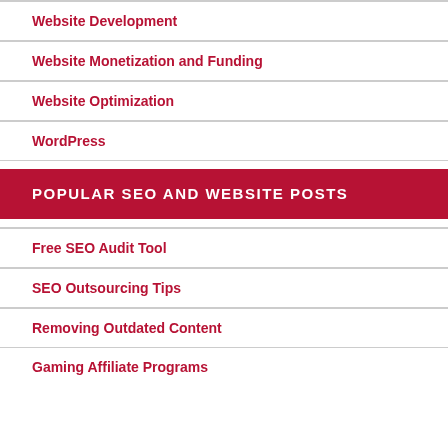Website Development
Website Monetization and Funding
Website Optimization
WordPress
POPULAR SEO AND WEBSITE POSTS
Free SEO Audit Tool
SEO Outsourcing Tips
Removing Outdated Content
Gaming Affiliate Programs